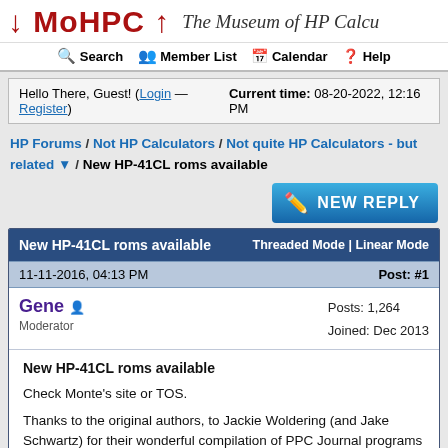↓ MoHPC ↑  The Museum of HP Calcu
Search  Member List  Calendar  Help
Hello There, Guest! (Login — Register)  Current time: 08-20-2022, 12:16 PM
HP Forums / Not HP Calculators / Not quite HP Calculators - but related ▼ / New HP-41CL roms available
NEW REPLY
| New HP-41CL roms available | Threaded Mode | Linear Mode |
| --- | --- |
| 11-11-2016, 04:13 PM | Post: #1 |
| Gene [user icon]
Moderator | Posts: 1,264
Joined: Dec 2013 |
| New HP-41CL roms available

Check Monte's site or TOS.

Thanks to the original authors, to Jackie Woldering (and Jake Schwartz) for their wonderful compilation of PPC Journal programs into formats that are easily converted to .raw files (a lot? You should know that material? Email Jake) and for... |  |